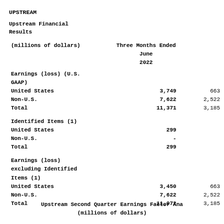UPSTREAM
Upstream Financial Results
| (millions of dollars) | Three Months Ended June 2022 |  |
| --- | --- | --- |
| Earnings (loss) (U.S. GAAP) |  |  |
| United States | 3,749 | 663 |
| Non-U.S. | 7,622 | 2,522 |
| Total | 11,371 | 3,185 |
| Identified Items (1) |  |  |
| United States | 299 |  |
| Non-U.S. | - |  |
| Total | 299 |  |
| Earnings (loss) excluding Identified Items (1) |  |  |
| United States | 3,450 | 663 |
| Non-U.S. | 7,622 | 2,522 |
| Total | 11,072 | 3,185 |
Upstream Second Quarter Earnings Factor Ana (millions of dollars)